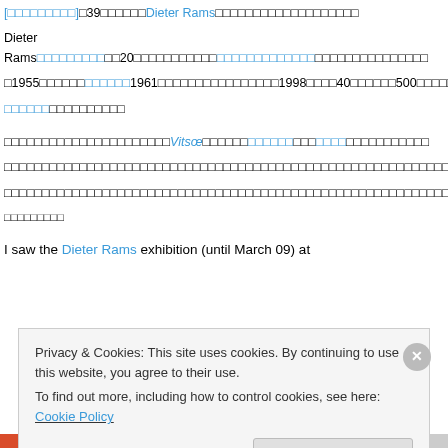[Japanese text] 3 9 [Japanese text] Dieter Rams [Japanese text]
Dieter Rams [Japanese text] 20 [Japanese text link] [Japanese text]
[Japanese text] 1955 [Japanese text link] 1961 [Japanese text] 1998 [Japanese text] 40 [Japanese text] 500 [Japanese text]
[Japanese link text] [Japanese text]
[Japanese text] Vitsœ [Japanese text link] [Japanese text]
[Japanese text]
[Japanese text]
I saw the Dieter Rams exhibition (until March 09) at
Privacy & Cookies: This site uses cookies. By continuing to use this website, you agree to their use.
To find out more, including how to control cookies, see here: Cookie Policy